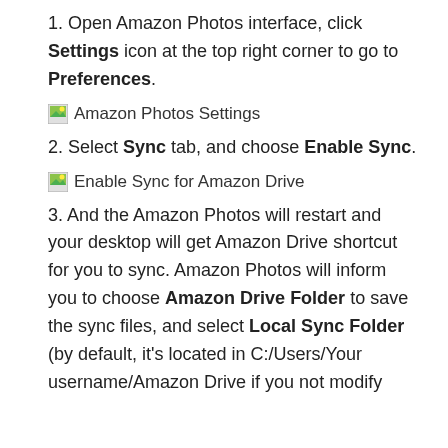1. Open Amazon Photos interface, click Settings icon at the top right corner to go to Preferences.
[Figure (screenshot): Amazon Photos Settings screenshot thumbnail with alt text 'Amazon Photos Settings']
2. Select Sync tab, and choose Enable Sync.
[Figure (screenshot): Enable Sync for Amazon Drive screenshot thumbnail with alt text 'Enable Sync for Amazon Drive']
3. And the Amazon Photos will restart and your desktop will get Amazon Drive shortcut for you to sync. Amazon Photos will inform you to choose Amazon Drive Folder to save the sync files, and select Local Sync Folder (by default, it's located in C:/Users/Your username/Amazon Drive if you not modify